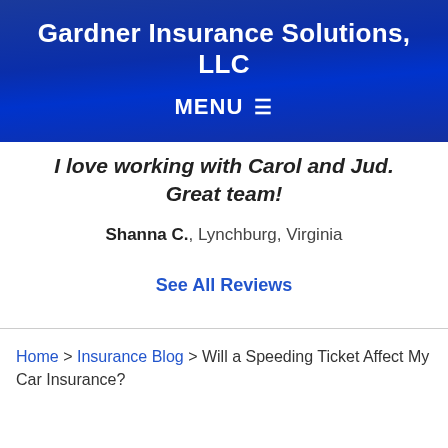Gardner Insurance Solutions, LLC
MENU ≡
I love working with Carol and Jud. Great team!
Shanna C., Lynchburg, Virginia
See All Reviews
Home > Insurance Blog > Will a Speeding Ticket Affect My Car Insurance?